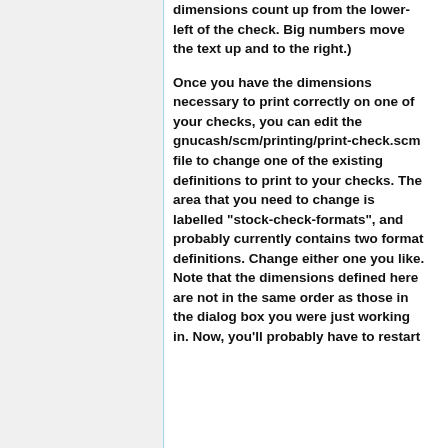dimensions count up from the lower-left of the check. Big numbers move the text up and to the right.)
Once you have the dimensions necessary to print correctly on one of your checks, you can edit the gnucash/scm/printing/print-check.scm file to change one of the existing definitions to print to your checks. The area that you need to change is labelled "stock-check-formats", and probably currently contains two format definitions. Change either one you like. Note that the dimensions defined here are not in the same order as those in the dialog box you were just working in. Now, you'll probably have to restart